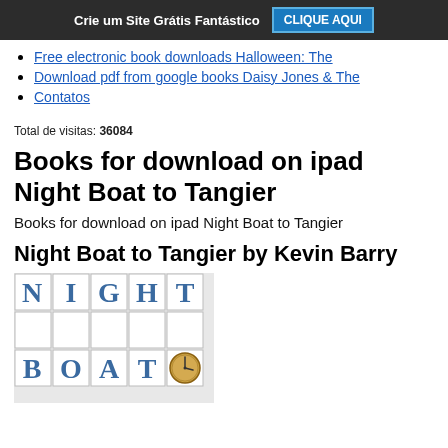Crie um Site Grátis Fantástico  CLIQUE AQUI
Free electronic book downloads Halloween: The
Download pdf from google books Daisy Jones & The
Contatos
Total de visitas: 36084
Books for download on ipad Night Boat to Tangier
Books for download on ipad Night Boat to Tangier
Night Boat to Tangier by Kevin Barry
[Figure (photo): Book cover of Night Boat to Tangier showing the word NIGHT and BOAT in blue tiled letters with a clock/compass in the lower right area]